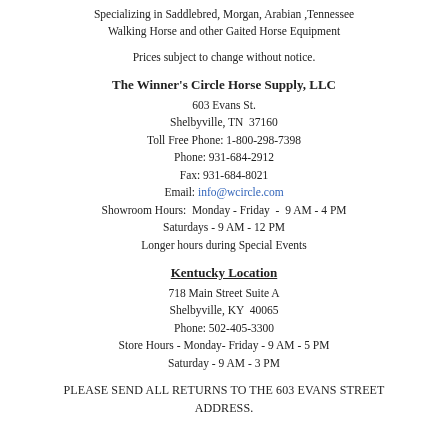Specializing in Saddlebred, Morgan, Arabian ,Tennessee Walking Horse and other Gaited Horse Equipment
Prices subject to change without notice.
The Winner's Circle Horse Supply, LLC
603 Evans St.
Shelbyville, TN  37160
Toll Free Phone: 1-800-298-7398
Phone: 931-684-2912
Fax: 931-684-8021
Email: info@wcircle.com
Showroom Hours:  Monday - Friday  -  9 AM - 4 PM
Saturdays - 9 AM - 12 PM
Longer hours during Special Events
Kentucky Location
718 Main Street Suite A
Shelbyville, KY  40065
Phone: 502-405-3300
Store Hours - Monday- Friday - 9 AM - 5 PM
Saturday - 9 AM - 3 PM
PLEASE SEND ALL RETURNS TO THE 603 EVANS STREET ADDRESS.